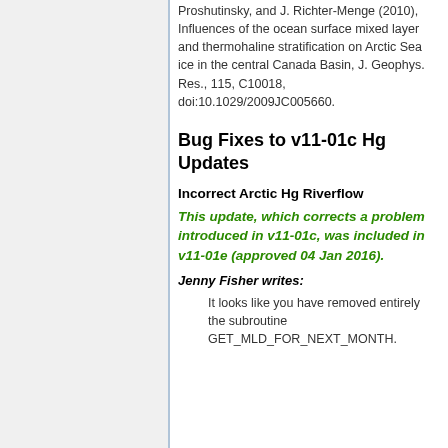Proshutinsky, and J. Richter-Menge (2010), Influences of the ocean surface mixed layer and thermohaline stratification on Arctic Sea ice in the central Canada Basin, J. Geophys. Res., 115, C10018, doi:10.1029/2009JC005660.
Bug Fixes to v11-01c Hg Updates
Incorrect Arctic Hg Riverflow
This update, which corrects a problem introduced in v11-01c, was included in v11-01e (approved 04 Jan 2016).
Jenny Fisher writes:
It looks like you have removed entirely the subroutine GET_MLD_FOR_NEXT_MONTH.